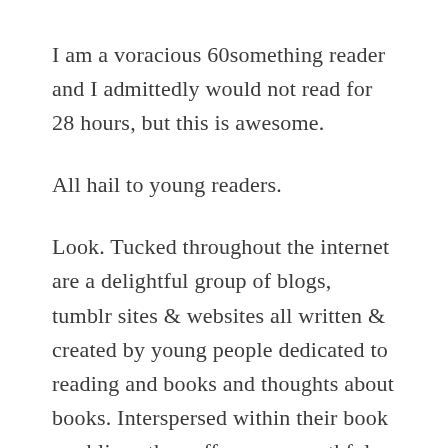I am a voracious 60something reader and I admittedly would not read for 28 hours, but this is awesome.
All hail to young readers.
Look. Tucked throughout the internet are a delightful group of blogs, tumblr sites & websites all written & created by young people dedicated to reading and books and thoughts about books. Interspersed within their book ramblings they offer some youthful insights to world